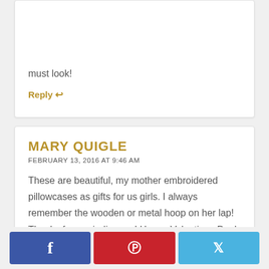must look!
Reply ↩
MARY QUIGLE
FEBRUARY 13, 2016 AT 9:46 AM
These are beautiful, my mother embroidered pillowcases as gifts for us girls. I always remember the wooden or metal hoop on her lap! Thanks for reminding me! Happy Valentines Day!
Reply ↩
[Figure (other): Social share buttons: Facebook (blue), Pinterest (red), Twitter (light blue)]